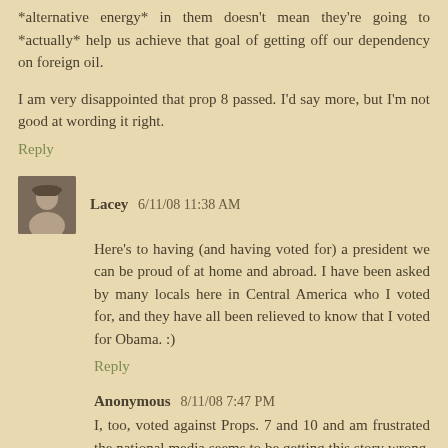*alternative energy* in them doesn't mean they're going to *actually* help us achieve that goal of getting off our dependency on foreign oil.
I am very disappointed that prop 8 passed. I'd say more, but I'm not good at wording it right.
Reply
Lacey 6/11/08 11:38 AM
Here's to having (and having voted for) a president we can be proud of at home and abroad. I have been asked by many locals here in Central America who I voted for, and they have all been relieved to know that I voted for Obama. :)
Reply
Anonymous 8/11/08 7:47 PM
I, too, voted against Props. 7 and 10 and am frustrated the national media seems to be getting this story wrong. Here's